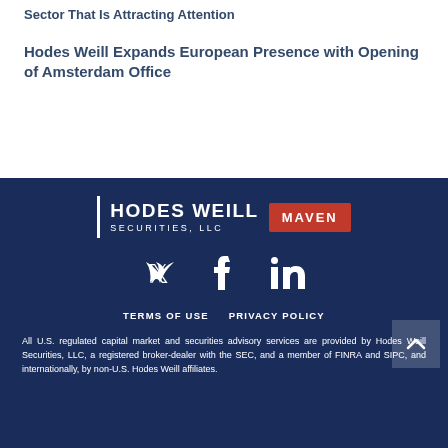Sector That Is Attracting Attention
Hodes Weill Expands European Presence with Opening of Amsterdam Office
[Figure (logo): Hodes Weill Securities LLC Maven logo with social media icons (Twitter, Facebook, LinkedIn)]
TERMS OF USE   PRIVACY POLICY
All U.S. regulated capital market and securities advisory services are provided by Hodes Weill Securities, LLC, a registered broker-dealer with the SEC, and a member of FINRA and SIPC, and internationally, by non-U.S. Hodes Weill affiliates.